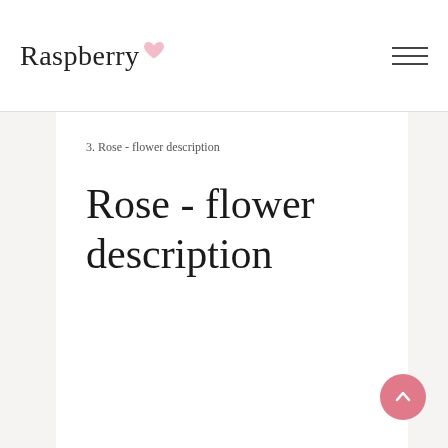Raspberry
3. Rose - flower description
Rose - flower description